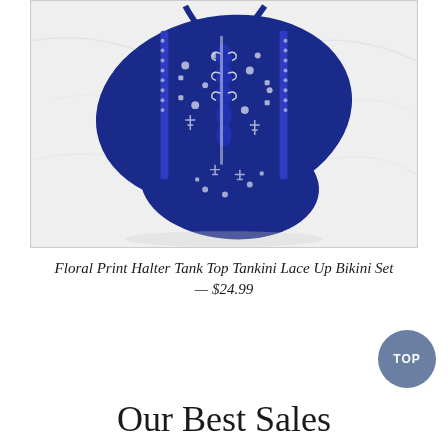[Figure (photo): Blue and white floral print halter tankini bikini set laid flat on a white marble surface. The swimwear features intricate ethnic/floral patterns in navy blue and white, with ruffled lace-up front detail.]
Floral Print Halter Tank Top Tankini Lace Up Bikini Set — $24.99
Our Best Sales